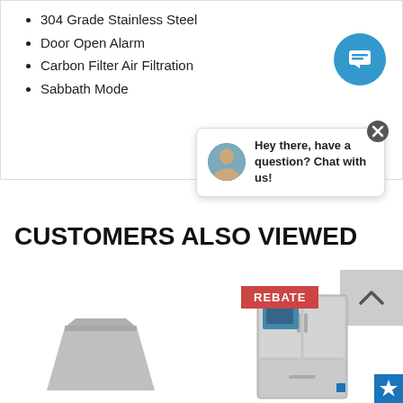304 Grade Stainless Steel
Door Open Alarm
Carbon Filter Air Filtration
Sabbath Mode
[Figure (screenshot): Blue circular chat button with chat icon]
Hey there, have a question? Chat with us!
CUSTOMERS ALSO VIEWED
[Figure (photo): Stainless steel range hood]
[Figure (photo): Stainless steel French door refrigerator with REBATE badge and Energy Star logo]